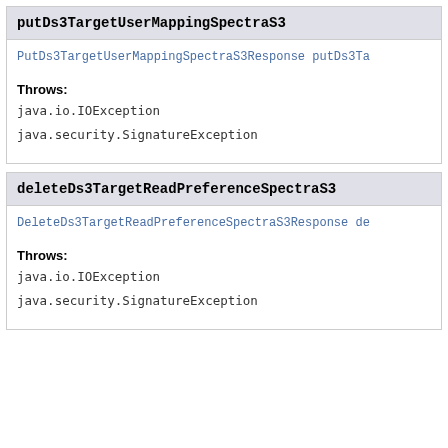putDs3TargetUserMappingSpectraS3
PutDs3TargetUserMappingSpectraS3Response putDs3Ta…
Throws:
java.io.IOException
java.security.SignatureException
deleteDs3TargetReadPreferenceSpectraS3
DeleteDs3TargetReadPreferenceSpectraS3Response de…
Throws:
java.io.IOException
java.security.SignatureException